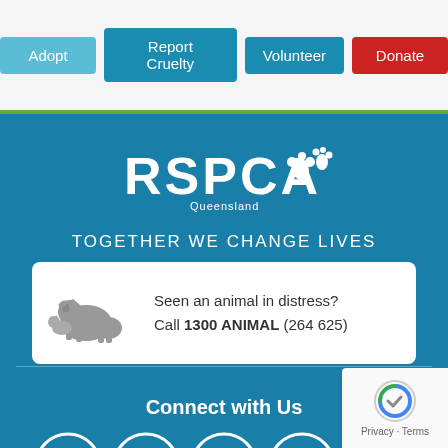[Figure (screenshot): RSPCA Queensland website navigation bar with four buttons: Adopt (light blue), Report Cruelty (dark teal), Volunteer (dark teal), Donate (red)]
[Figure (logo): RSPCA Queensland logo with paw print icons in white on teal background, with text 'Queensland' below]
TOGETHER WE CHANGE LIVES
Seen an animal in distress? Call 1300 ANIMAL (264 625)
Connect with Us
[Figure (infographic): Social media icons row: Facebook, Instagram, Twitter, LinkedIn, YouTube — white circle outlines on teal background]
[Figure (logo): Google reCAPTCHA badge with Privacy and Terms links]